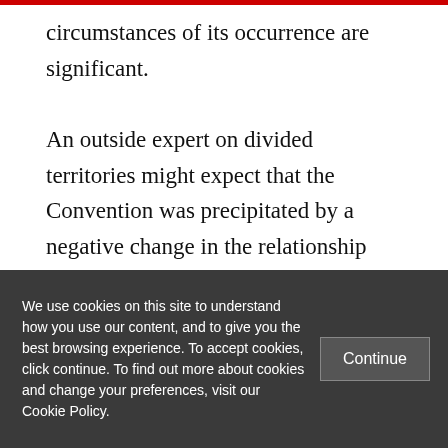circumstances of its occurrence are significant.

An outside expert on divided territories might expect that the Convention was precipitated by a negative change in the relationship between South Tyrol's three official language groups that requires the Autonomy Statute to be amended. This is not the case. Both the Autonomy Convention and its challenges are
We use cookies on this site to understand how you use our content, and to give you the best browsing experience. To accept cookies, click continue. To find out more about cookies and change your preferences, visit our Cookie Policy.